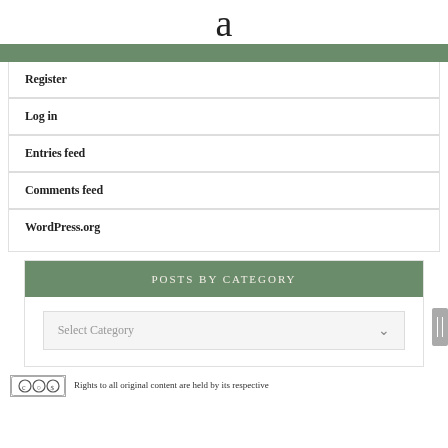a
Register
Log in
Entries feed
Comments feed
WordPress.org
POSTS BY CATEGORY
Select Category
Rights to all original content are held by its respective